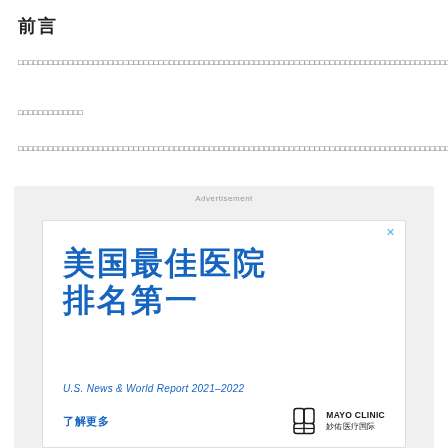前言
□□□□□□□□□□□□□□□□□□□□□□□□□□□□□□□□□□□□□□□□□□□□□□□□□□□□□□□□□□□□□□□□□□□□□□□□□□□□□□□□□□□□□□□□□□□□□□□□□□□□□
□□□□□□□□□□□□□
□□□□□□□□□□□□□□□□□□□□□□□□□□□□□□□□□□□□□□□□□□□□□□□□□□□□□□□□□□□□□□□□□□□□□□□□□□□□□□□□□□□□□□□□□□□□□□□□□□□□□
[Figure (infographic): Mayo Clinic advertisement in Chinese. Headline: 美国最佳医院排名第一 (Best Hospital in America Ranked No. 1). Subtext: U.S. News & World Report 2021–2022. Bottom: 了解更多 (Learn More) link and Mayo Clinic 妙佑医疗国际 logo.]